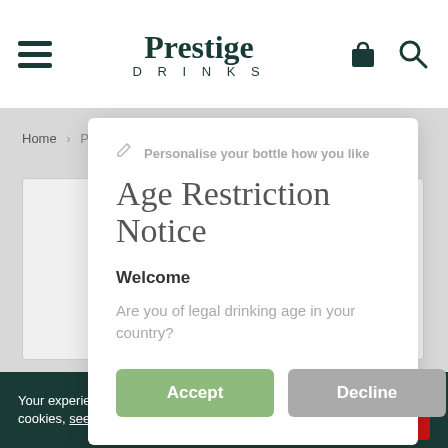Prestige DRINKS
Home > Personalise > Personalised Mombasa Club Gi...
Age Restriction Notice
Personalise your bottle how you like
Welcome
Are you of legal drinking age in your country?
Accept
Decline
Your experience will be improved by allowing cookies, see policy. Allow cookies